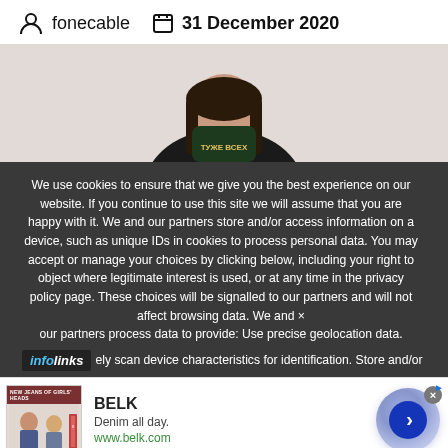fonecable   31 December 2020
[Figure (photo): Person wearing a dark face mask with text 'ТУЖЕ ВСЕХ', photographed from shoulders up against a light background]
We use cookies to ensure that we give you the best experience on our website. If you continue to use this site we will assume that you are happy with it. We and our partners store and/or access information on a device, such as unique IDs in cookies to process personal data. You may accept or manage your choices by clicking below, including your right to object where legitimate interest is used, or at any time in the privacy policy page. These choices will be signalled to our partners and will not affect browsing data. We and our partners process data to provide: Use precise geolocation data. ely scan device characteristics for identification. Store and/or
[Figure (infographic): Infolinks advertisement bar with BELK ad showing 'Denim all day.' and www.belk.com URL, with a blue arrow button and close button]